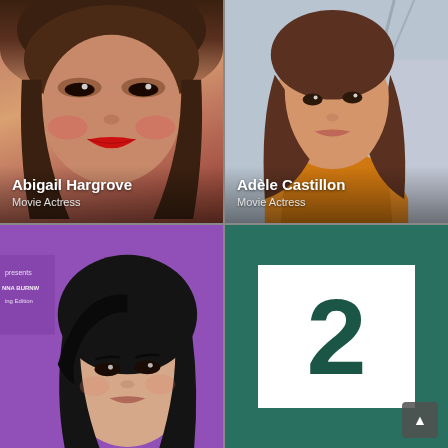[Figure (photo): Close-up photo of Abigail Hargrove, a woman with brown hair, red lips, and heavy eye makeup, smiling at camera]
Abigail Hargrove
Movie Actress
[Figure (photo): Photo of Adèle Castillon, a young woman with brown hair wearing an orange jacket, looking over her shoulder outdoors]
Adèle Castillon
Movie Actress
[Figure (photo): Close-up photo of a woman with dark black hair against a purple background, with partial text of an event banner visible]
[Figure (other): Teal/green background with a white rectangle containing a large dark teal number 2, and a scroll-up button in the bottom right corner]